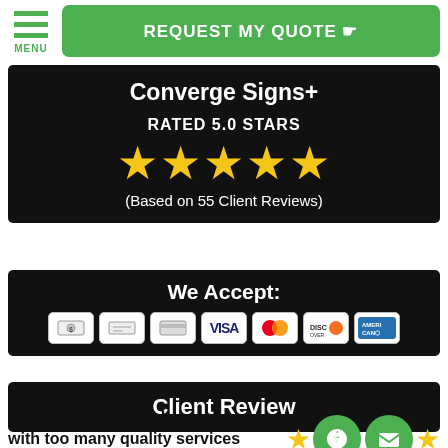MENU / REQUEST MY QUOTE
Converge Signs+
RATED 5.0 STARS
[Figure (other): Five gold star rating icons]
(Based on 55 Client Reviews)
We Accept:
[Figure (other): Payment method icons: cash, check, credit card, Visa, Mastercard, Discover, American Express]
Client Review
Great locally minded company with too many quality services to list...
[Figure (other): Star rating with phone and email contact icons]